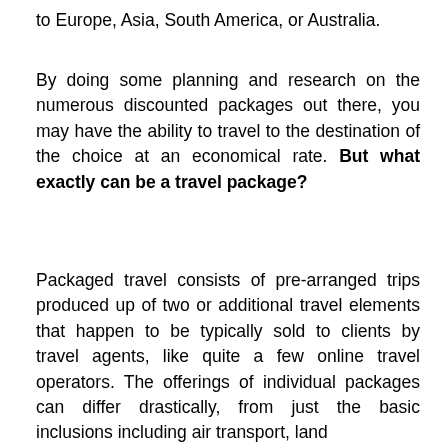to Europe, Asia, South America, or Australia.
By doing some planning and research on the numerous discounted packages out there, you may have the ability to travel to the destination of the choice at an economical rate. But what exactly can be a travel package?
Packaged travel consists of pre-arranged trips produced up of two or additional travel elements that happen to be typically sold to clients by travel agents, like quite a few online travel operators. The offerings of individual packages can differ drastically, from just the basic inclusions including air transport, land